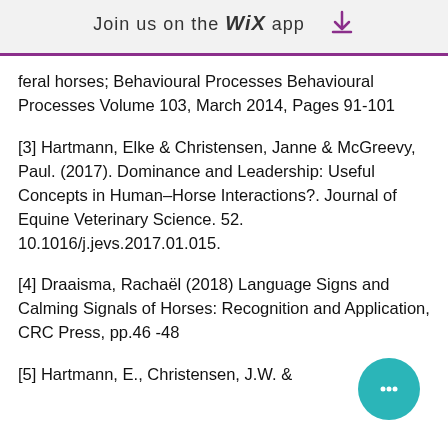Join us on the WiX app
feral horses; Behavioural Processes Behavioural Processes Volume 103, March 2014, Pages 91-101
[3] Hartmann, Elke & Christensen, Janne & McGreevy, Paul. (2017). Dominance and Leadership: Useful Concepts in Human–Horse Interactions?. Journal of Equine Veterinary Science. 52. 10.1016/j.jevs.2017.01.015.
[4] Draaisma, Rachaël (2018) Language Signs and Calming Signals of Horses: Recognition and Application, CRC Press, pp.46 -48
[5] Hartmann, E., Christensen, J.W. &